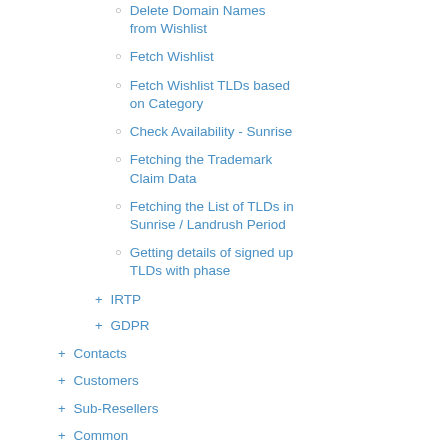Delete Domain Names from Wishlist
Fetch Wishlist
Fetch Wishlist TLDs based on Category
Check Availability - Sunrise
Fetching the Trademark Claim Data
Fetching the List of TLDs in Sunrise / Landrush Period
Getting details of signed up TLDs with phase
+ IRTP
+ GDPR
+ Contacts
+ Customers
+ Sub-Resellers
+ Common
+ Products